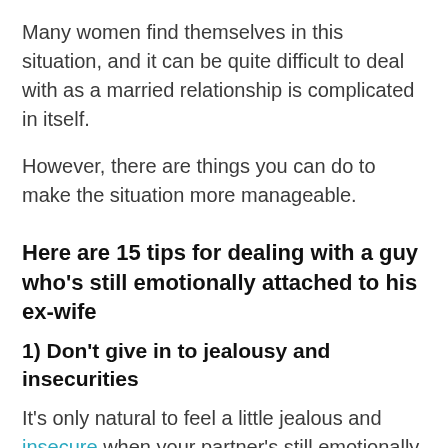Many women find themselves in this situation, and it can be quite difficult to deal with as a married relationship is complicated in itself.
However, there are things you can do to make the situation more manageable.
Here are 15 tips for dealing with a guy who’s still emotionally attached to his ex-wife
1) Don’t give in to jealousy and insecurities
It’s only natural to feel a little jealous and insecure when your partner’s still emotionally attached to his ex-wife. After all, you can’t help but compare yourself to her and wonder what he still sees in her that he